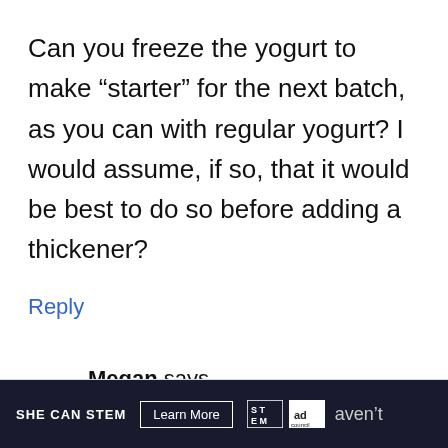Can you freeze the yogurt to make “starter” for the next batch, as you can with regular yogurt? I would assume, if so, that it would be best to do so before adding a thickener?
Reply
Megan says
November 20, 2017 at 8:49 am
SHE CAN STEM   Learn More   [STEM logo] [ad council logo]   aven’t